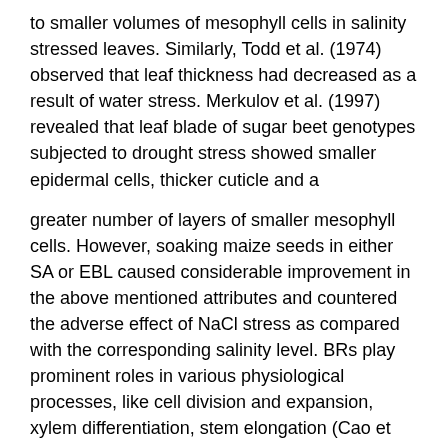to smaller volumes of mesophyll cells in salinity stressed leaves. Similarly, Todd et al. (1974) observed that leaf thickness had decreased as a result of water stress. Merkulov et al. (1997) revealed that leaf blade of sugar beet genotypes subjected to drought stress showed smaller epidermal cells, thicker cuticle and a
greater number of layers of smaller mesophyll cells. However, soaking maize seeds in either SA or EBL caused considerable improvement in the above mentioned attributes and countered the adverse effect of NaCl stress as compared with the corresponding salinity level. BRs play prominent roles in various physiological processes, like cell division and expansion, xylem differentiation, stem elongation (Cao et al., 2005; Kartal et al., 2009; Khripach et al., 2000).
5. Conclusions
Seed soaking in SA or EBL was beneficial for the early vegetative growth of NaCl-stressed maize plants. Application of SA or EBL significantly improved all parameters of growth, and elevated levels of the antioxidant system (catalase, peroxidase and